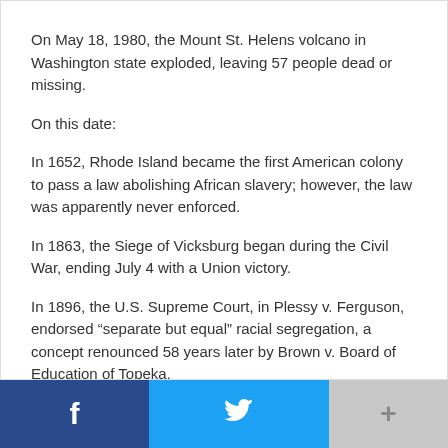On May 18, 1980, the Mount St. Helens volcano in Washington state exploded, leaving 57 people dead or missing.
On this date:
In 1652, Rhode Island became the first American colony to pass a law abolishing African slavery; however, the law was apparently never enforced.
In 1863, the Siege of Vicksburg began during the Civil War, ending July 4 with a Union victory.
In 1896, the U.S. Supreme Court, in Plessy v. Ferguson, endorsed “separate but equal” racial segregation, a concept renounced 58 years later by Brown v. Board of Education of Topeka.
Facebook share | Twitter share | More